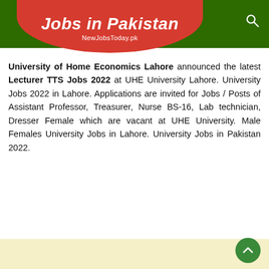Jobs in Pakistan — NewJobsToday.pk
University of Home Economics Lahore announced the latest Lecturer TTS Jobs 2022 at UHE University Lahore. University Jobs 2022 in Lahore. Applications are invited for Jobs / Posts of Assistant Professor, Treasurer, Nurse BS-16, Lab technician, Dresser Female which are vacant at UHE University. Male Females University Jobs in Lahore. University Jobs in Pakistan 2022.